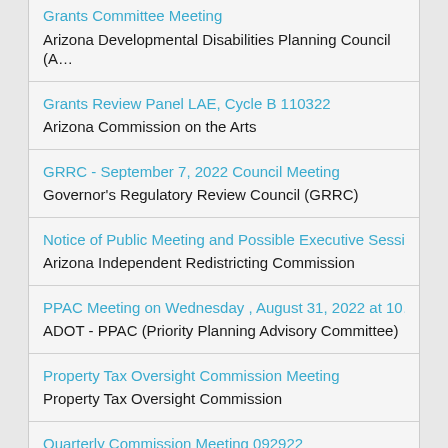Grants Committee Meeting
Arizona Developmental Disabilities Planning Council (A…
Grants Review Panel LAE, Cycle B 110322
Arizona Commission on the Arts
GRRC - September 7, 2022 Council Meeting
Governor's Regulatory Review Council (GRRC)
Notice of Public Meeting and Possible Executive Sessi…
Arizona Independent Redistricting Commission
PPAC Meeting on Wednesday , August 31, 2022 at 10…
ADOT - PPAC (Priority Planning Advisory Committee)
Property Tax Oversight Commission Meeting
Property Tax Oversight Commission
Quarterly Commission Meeting 092922
Arizona Commission on the Arts
Quarterly Commission Meeting 120822